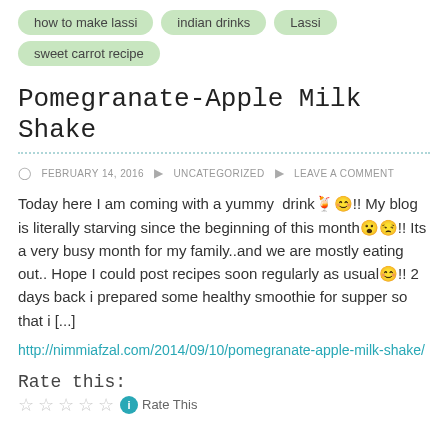how to make lassi
indian drinks
Lassi
sweet carrot recipe
Pomegranate-Apple Milk Shake
FEBRUARY 14, 2016  UNCATEGORIZED  LEAVE A COMMENT
Today here I am coming with a yummy drink🍹😊!! My blog is literally starving since the beginning of this month😮😒!! Its a very busy month for my family..and we are mostly eating out.. Hope I could post recipes soon regularly as usual😊!! 2 days back i prepared some healthy smoothie for supper so that i [...]
http://nimmiafzal.com/2014/09/10/pomegranate-apple-milk-shake/
Rate this:
Rate This